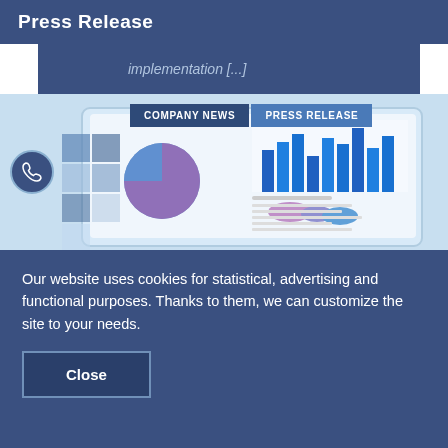Press Release
implementation [...]
[Figure (screenshot): Website screenshot showing navigation buttons 'COMPANY NEWS' and 'PRESS RELEASE', a phone icon circle, decorative blue squares, and a tablet displaying charts including bar charts and pie charts]
Our website uses cookies for statistical, advertising and functional purposes. Thanks to them, we can customize the site to your needs.
Close